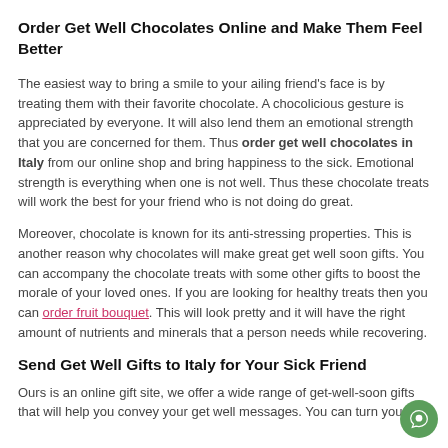Order Get Well Chocolates Online and Make Them Feel Better
The easiest way to bring a smile to your ailing friend's face is by treating them with their favorite chocolate. A chocolicious gesture is appreciated by everyone. It will also lend them an emotional strength that you are concerned for them. Thus order get well chocolates in Italy from our online shop and bring happiness to the sick. Emotional strength is everything when one is not well. Thus these chocolate treats will work the best for your friend who is not doing do great.
Moreover, chocolate is known for its anti-stressing properties. This is another reason why chocolates will make great get well soon gifts. You can accompany the chocolate treats with some other gifts to boost the morale of your loved ones. If you are looking for healthy treats then you can order fruit bouquet. This will look pretty and it will have the right amount of nutrients and minerals that a person needs while recovering.
Send Get Well Gifts to Italy for Your Sick Friend
Ours is an online gift site, we offer a wide range of get-well-soon gifts that will help you convey your get well messages. You can turn your...